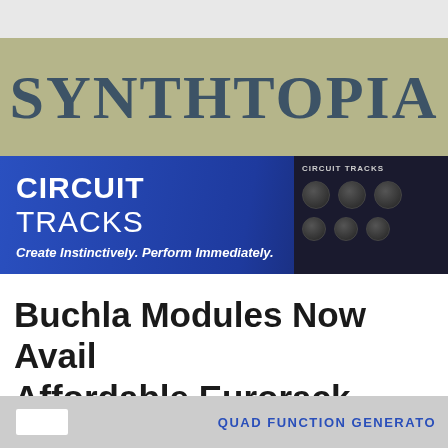SYNTHTOPIA
[Figure (infographic): Circuit Tracks advertisement banner with blue gradient background, text 'CIRCUIT TRACKS - Create Instinctively. Perform Immediately.' and image of the Circuit Tracks hardware device with knobs on dark background]
Buchla Modules Now Avail Affordable Eurorack Forma
[Figure (infographic): Bottom gray bar with white rectangle and 'QUAD FUNCTION GENERATOR' text in blue]